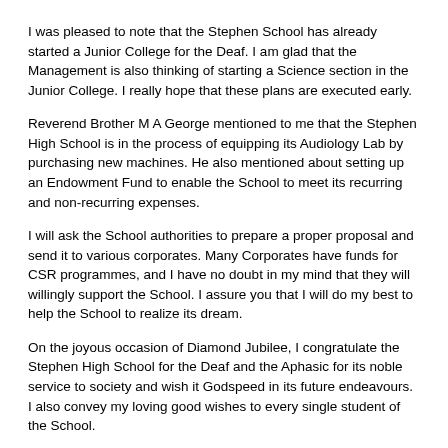I was pleased to note that the Stephen School has already started a Junior College for the Deaf. I am glad that the Management is also thinking of starting a Science section in the Junior College. I really hope that these plans are executed early.
Reverend Brother M A George mentioned to me that the Stephen High School is in the process of equipping its Audiology Lab by purchasing new machines. He also mentioned about setting up an Endowment Fund to enable the School to meet its recurring and non-recurring expenses.
I will ask the School authorities to prepare a proper proposal and send it to various corporates. Many Corporates have funds for CSR programmes, and I have no doubt in my mind that they will willingly support the School. I assure you that I will do my best to help the School to realize its dream.
On the joyous occasion of Diamond Jubilee, I congratulate the Stephen High School for the Deaf and the Aphasic for its noble service to society and wish it Godspeed in its future endeavours. I also convey my loving good wishes to every single student of the School.
Thank you
Jai Hind ! Jai Maharashtra !!